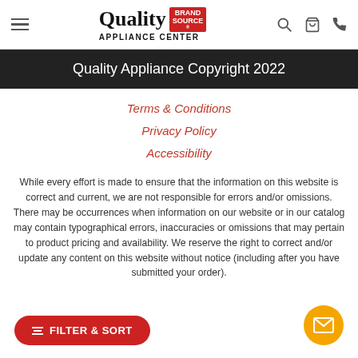Quality Appliance Center Brand Source — navigation header with hamburger menu, logo, search, cart, and phone icons
Quality Appliance Copyright 2022
Terms & Conditions
Privacy Policy
Accessibility
While every effort is made to ensure that the information on this website is correct and current, we are not responsible for errors and/or omissions. There may be occurrences when information on our website or in our catalog may contain typographical errors, inaccuracies or omissions that may pertain to product pricing and availability. We reserve the right to correct and/or update any content on this website without notice (including after you have submitted your order).